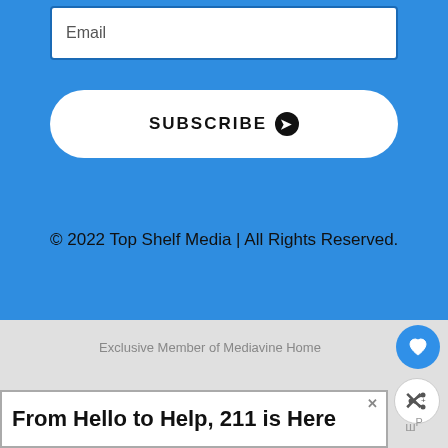Email
SUBSCRIBE ❯
© 2022 Top Shelf Media | All Rights Reserved.
Exclusive Member of Mediavine Home
From Hello to Help, 211 is Here